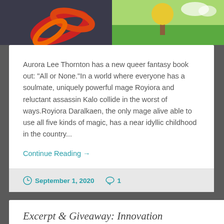[Figure (illustration): Cropped illustration showing a dark fantasy scene with red/orange swirling shapes on the left and a green pastoral scene with a tree on the right]
Aurora Lee Thornton has a new queer fantasy book out: "All or None."In a world where everyone has a soulmate, uniquely powerful mage Royiora and reluctant assassin Kalo collide in the worst of ways.Royiora Daralkaen, the only mage alive able to use all five kinds of magic, has a near idyllic childhood in the country...
Continue Reading →
September 1, 2020   1
Excerpt & Giveaway: Innovation